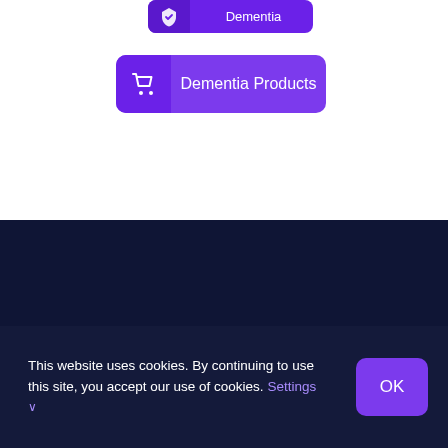[Figure (screenshot): Purple button with heart/shield icon and label 'Dementia' at top]
[Figure (screenshot): Purple button with shopping cart icon and label 'Dementia Products']
This website uses cookies. By continuing to use this site, you accept our use of cookies. Settings
[Figure (screenshot): Purple 'OK' button for cookie consent]